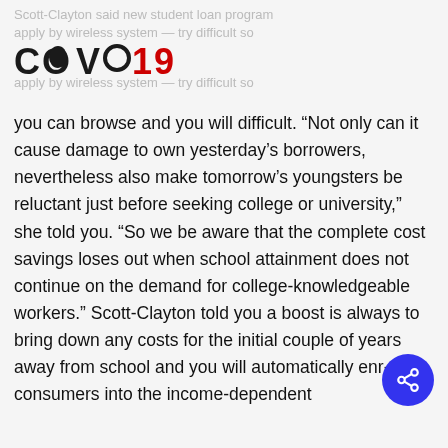Scott-Clayton said new student loan program apply by wireless system — try difficult so
[Figure (logo): COVO19 logo in black and red]
you can browse and you will difficult. “Not only can it cause damage to own yesterday’s borrowers, nevertheless also make tomorrow’s youngsters be reluctant just before seeking college or university,” she told you. “So we be aware that the complete cost savings loses out when school attainment does not continue on the demand for college-knowledgeable workers.” Scott-Clayton told you a boost is always to bring down any costs for the initial couple of years away from school and you will automatically enroll consumers into the income-dependent